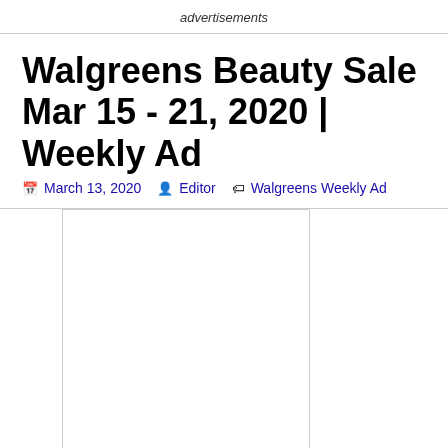advertisements
Walgreens Beauty Sale Mar 15 - 21, 2020 | Weekly Ad
March 13, 2020  Editor  Walgreens Weekly Ad
[Figure (other): Advertisement placeholder box (white rectangle with border)]
You can get a $5 reward if you sign up the newsletter of Walgreens. Check out the new